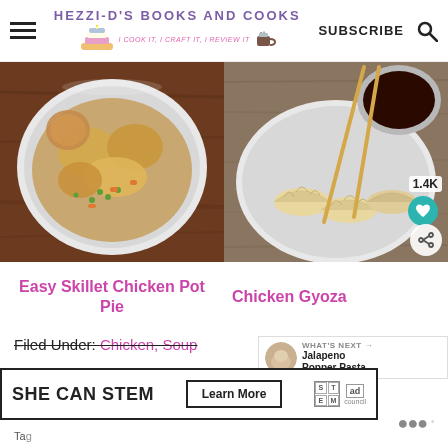HEZZI-D'S BOOKS AND COOKS — I COOK IT, I CRAFT IT, I REVIEW IT | SUBSCRIBE
[Figure (photo): Overhead shot of a white bowl containing chicken pot pie with puff pastry top, colorful peas and carrots visible, on a wooden table]
[Figure (photo): Overhead shot of chicken gyoza (dumplings) on a white plate with a bowl of dipping sauce and chopsticks, on a wooden surface. Heart/like button and 1.4K count visible.]
Easy Skillet Chicken Pot Pie
Chicken Gyoza
WHAT'S NEXT → Jalapeno Popper Pasta
Filed Under: Chicken, Soup
[Figure (infographic): Ad banner: SHE CAN STEM — Learn More — STEM / Ad Council logos]